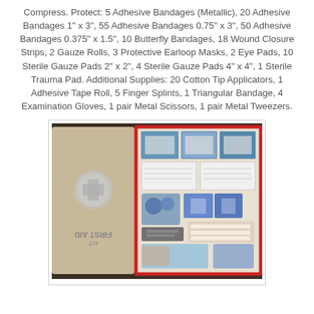Compress. Protect: 5 Adhesive Bandages (Metallic), 20 Adhesive Bandages 1" x 3", 55 Adhesive Bandages 0.75" x 3", 50 Adhesive Bandages 0.375" x 1.5", 10 Butterfly Bandages, 18 Wound Closure Strips, 2 Gauze Rolls, 3 Protective Earloop Masks, 2 Eye Pads, 10 Sterile Gauze Pads 2" x 2", 4 Sterile Gauze Pads 4" x 4", 1 Sterile Trauma Pad. Additional Supplies: 20 Cotton Tip Applicators, 1 Adhesive Tape Roll, 5 Finger Splints, 1 Triangular Bandage, 4 Examination Gloves, 1 pair Metal Scissors, 1 pair Metal Tweezers.
[Figure (photo): Open first aid kit showing a red plastic case with white cross logo on the lid (left side) and organized compartments filled with medical supplies including bandages, gauze pads, gloves, scissors, and other first aid items (right side).]